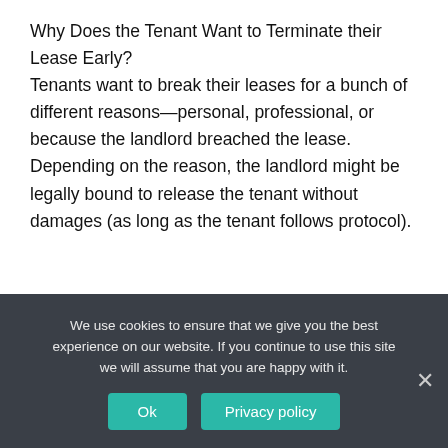Why Does the Tenant Want to Terminate their Lease Early?
Tenants want to break their leases for a bunch of different reasons—personal, professional, or because the landlord breached the lease. Depending on the reason, the landlord might be legally bound to release the tenant without damages (as long as the tenant follows protocol).
Can a tenant request an early end to a tenancy?
If the tenant asks you or the agent to request an early end to
We use cookies to ensure that we give you the best experience on our website. If you continue to use this site we will assume that you are happy with it.